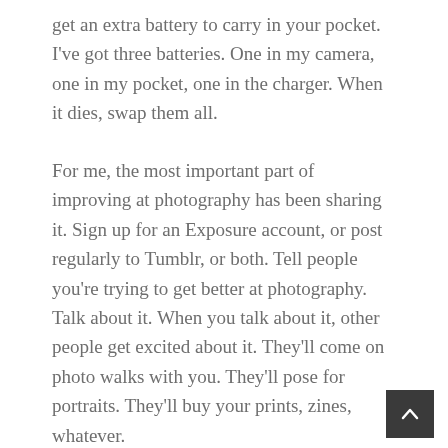get an extra battery to carry in your pocket. I've got three batteries. One in my camera, one in my pocket, one in the charger. When it dies, swap them all.
For me, the most important part of improving at photography has been sharing it. Sign up for an Exposure account, or post regularly to Tumblr, or both. Tell people you're trying to get better at photography. Talk about it. When you talk about it, other people get excited about it. They'll come on photo walks with you. They'll pose for portraits. They'll buy your prints, zines, whatever.